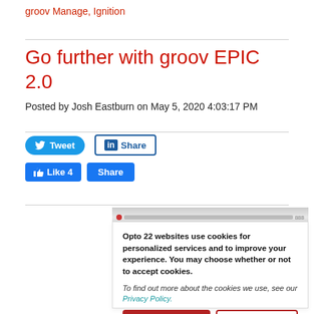groov Manage, Ignition
Go further with groov EPIC 2.0
Posted by Josh Eastburn on May 5, 2020 4:03:17 PM
[Figure (screenshot): Social media share buttons: Tweet, LinkedIn Share, Facebook Like 4, Share]
[Figure (screenshot): Partial screenshot of a website page (blurred/small)]
Opto 22 websites use cookies for personalized services and to improve your experience. You may choose whether or not to accept cookies. To find out more about the cookies we use, see our Privacy Policy.
No problem.
I'd rather not.